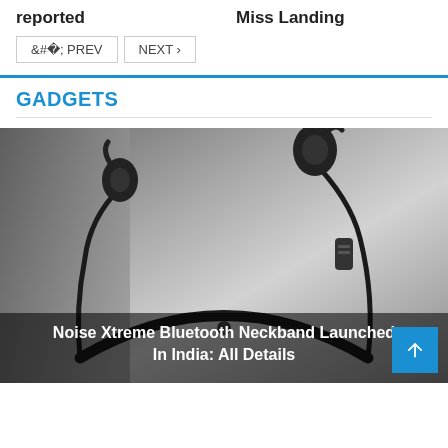reported
Miss Landing
< PREV
NEXT >
GADGETS
[Figure (photo): Noise Xtreme Bluetooth Neckband earphones product photo on grey background, with the caption overlaid: Noise Xtreme Bluetooth Neckband Launched In India: All Details]
Noise Xtreme Bluetooth Neckband Launched In India: All Details